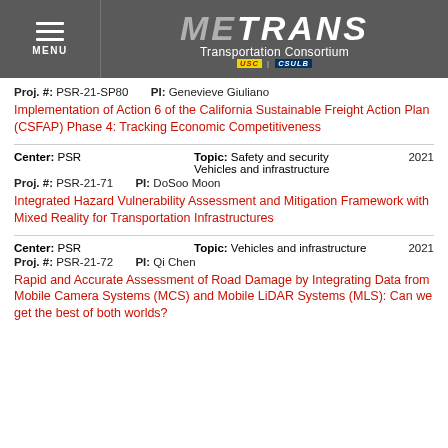METRANS Transportation Consortium — MENU header
Proj. #: PSR-21-SP80   PI: Genevieve Giuliano
Implementation of Action 6 of the California Sustainable Freight Action Plan (CSFAP) Phase 4: Tracking Economic Competitiveness
Center: PSR   Topic: Safety and security Vehicles and infrastructure   2021
Proj. #: PSR-21-71   PI: DoSoo Moon
Integrated Hazard Vulnerability Assessment and Mitigation Framework with Mixed Reality for Transportation Infrastructures
Center: PSR   Topic: Vehicles and infrastructure   2021
Proj. #: PSR-21-72   PI: Qi Chen
Rapid and Accurate Assessment of Road Damage by Integrating Data from Mobile Camera Systems (MCS) and Mobile LiDAR Systems (MLS): Can we get the best of both worlds?